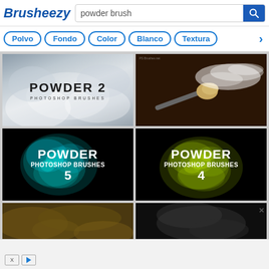Brusheezy — powder brush search page
powder brush
Polvo
Fondo
Color
Blanco
Textura
[Figure (screenshot): Powder 2 Photoshop Brushes thumbnail — white/grey smoke cloud on light background]
[Figure (photo): Makeup brush dispersing white powder on dark brown background]
[Figure (screenshot): Powder Photoshop Brushes 5 — cyan teal powder cloud on black background]
[Figure (screenshot): Powder Photoshop Brushes 4 — yellow-green powder cloud on black background]
[Figure (screenshot): Partial thumbnail: dark golden/brown texture]
[Figure (screenshot): Partial thumbnail: dark smoke/powder on near-black background]
×